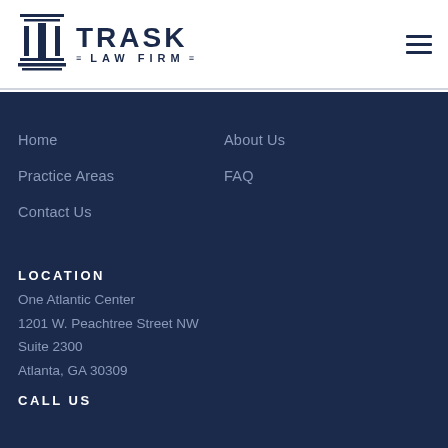[Figure (logo): Trask Law Firm logo with column icon and text TRASK LAW FIRM]
Home
About Us
Practice Areas
FAQ
Contact Us
LOCATION
One Atlantic Center
1201 W. Peachtree Street NW
Suite 2300
Atlanta, GA 30309
CALL US